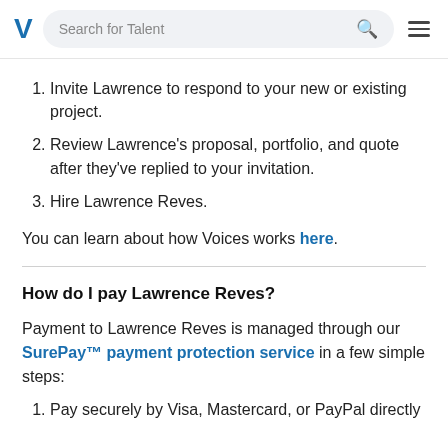Voices — Search for Talent
Invite Lawrence to respond to your new or existing project.
Review Lawrence's proposal, portfolio, and quote after they've replied to your invitation.
Hire Lawrence Reves.
You can learn about how Voices works here.
How do I pay Lawrence Reves?
Payment to Lawrence Reves is managed through our SurePay™ payment protection service in a few simple steps:
Pay securely by Visa, Mastercard, or PayPal directly